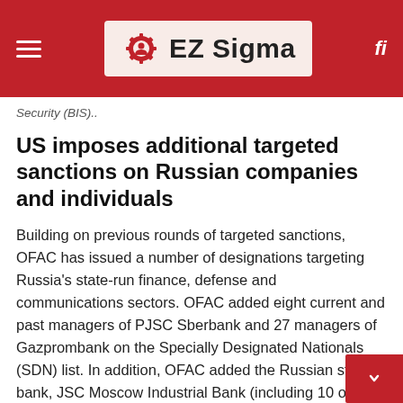EZ Sigma
Security (BIS)..
US imposes additional targeted sanctions on Russian companies and individuals
Building on previous rounds of targeted sanctions, OFAC has issued a number of designations targeting Russia's state-run finance, defense and communications sectors. OFAC added eight current and past managers of PJSC Sberbank and 27 managers of Gazprombank on the Specially Designated Nationals (SDN) list. In addition, OFAC added the Russian state bank, JSC Moscow Industrial Bank (including 10 of its subsidiaries defense entity, the limited liability company